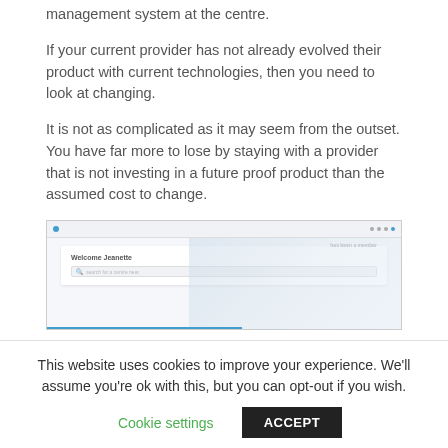management system at the centre.
If your current provider has not already evolved their product with current technologies, then you need to look at changing.
It is not as complicated as it may seem from the outset. You have far more to lose by staying with a provider that is not investing in a future proof product than the assumed cost to change.
[Figure (screenshot): Screenshot of a software dashboard showing a welcome message 'Welcome Jeanette' with a search bar, displayed in a browser-like interface with a blue dot in the top-left corner and navigation dots in the top-right.]
This website uses cookies to improve your experience. We'll assume you're ok with this, but you can opt-out if you wish.
Cookie settings  ACCEPT